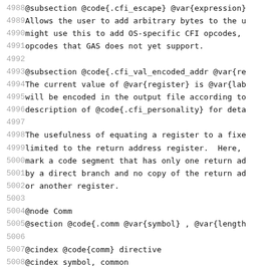4988  @subsection @code{.cfi_escape} @var{expression}
4989  Allows the user to add arbitrary bytes to the u
4990  might use this to add OS-specific CFI opcodes,
4991  opcodes that GAS does not yet support.
4992
4993  @subsection @code{.cfi_val_encoded_addr @var{re
4994  The current value of @var{register} is @var{lab
4995  will be encoded in the output file according to
4996  description of @code{.cfi_personality} for deta
4997
4998  The usefulness of equating a register to a fixe
4999  limited to the return address register.  Here,
5000  mark a code segment that has only one return ad
5001  by a direct branch and no copy of the return ad
5002  or another register.
5003
5004  @node Comm
5005  @section @code{.comm @var{symbol} , @var{length
5006
5007  @cindex @code{comm} directive
5008  @cindex symbol, common